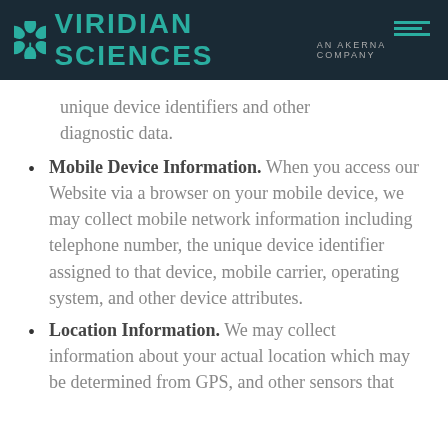VIRIDIAN SCIENCES — AN AKERNA COMPANY
unique device identifiers and other diagnostic data.
Mobile Device Information. When you access our Website via a browser on your mobile device, we may collect mobile network information including telephone number, the unique device identifier assigned to that device, mobile carrier, operating system, and other device attributes.
Location Information. We may collect information about your actual location which may be determined from GPS, and other sensors that